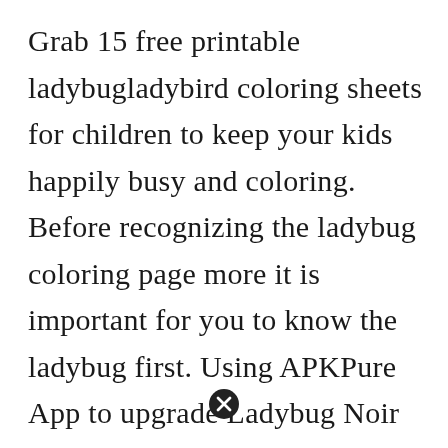Grab 15 free printable ladybugladybird coloring sheets for children to keep your kids happily busy and coloring. Before recognizing the ladybug coloring page more it is important for you to know the ladybug first. Using APKPure App to upgrade Ladybug Noir Coloring Book fast free and save your internet data. You might also be interested in coloring pages from Ladybug category. Realistic Ladybug Coloring Pages Ladybug Coloring Page Bug Coloring Pages Insect Coloring Pages